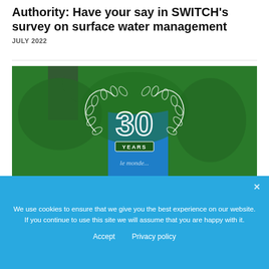Authority: Have your say in SWITCH's survey on surface water management
JULY 2022
[Figure (photo): Photo of ivy-covered building with a white decorative wreath graphic containing '30 YEARS' text overlay, set against a blue sky background.]
We use cookies to ensure that we give you the best experience on our website. If you continue to use this site we will assume that you are happy with it.
Accept   Privacy policy